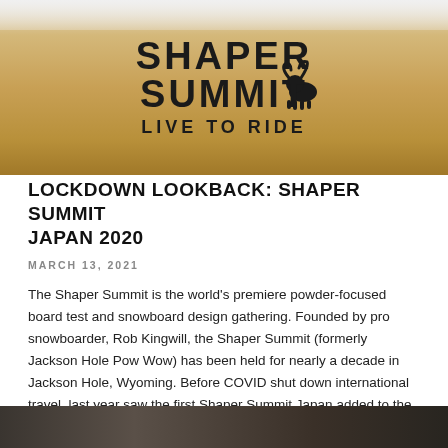[Figure (photo): Close-up photo of a wooden snowboard with 'SHAPER SUMMIT LIVE TO RIDE' text and a ram/animal logo printed on it, resting in snow]
LOCKDOWN LOOKBACK: SHAPER SUMMIT JAPAN 2020
MARCH 13, 2021
The Shaper Summit is the world's premiere powder-focused board test and snowboard design gathering. Founded by pro snowboarder, Rob Kingwill, the Shaper Summit (formerly Jackson Hole Pow Wow) has been held for nearly a decade in Jackson Hole, Wyoming. Before COVID shut down international travel, last year saw the first Shaper Summit Japan added to the calendar, as Rob Kingwill connected with local legends in the Japanese shred scene to bring together a diverse selection of Japanese snowboard makers and dedicated riders...
[Figure (photo): Partial photo visible at bottom of page showing a dark outdoor scene]